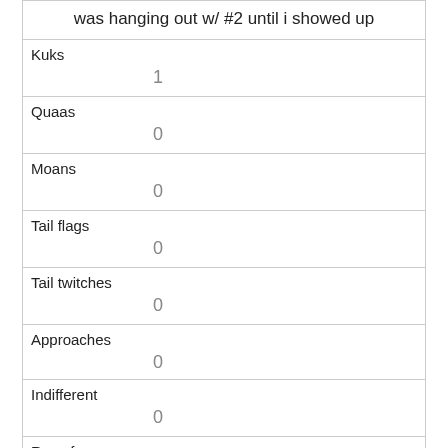| was hanging out w/ #2 until i showed up |
| --- |
| Kuks | 1 |
| Quaas | 0 |
| Moans | 0 |
| Tail flags | 0 |
| Tail twitches | 0 |
| Approaches | 0 |
| Indifferent | 0 |
| Runs from | 1 |
| Other Interactions |  |
| Lat/Long |  |